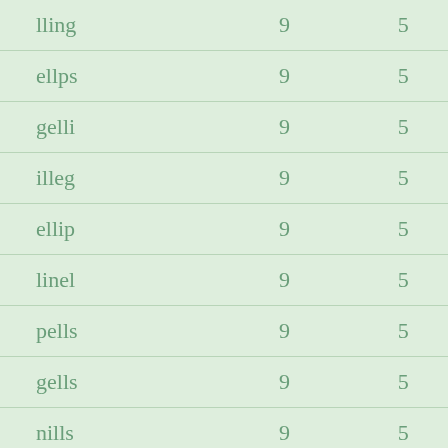| lling | 9 | 5 |
| ellps | 9 | 5 |
| gelli | 9 | 5 |
| illeg | 9 | 5 |
| ellip | 9 | 5 |
| linel | 9 | 5 |
| pells | 9 | 5 |
| gells | 9 | 5 |
| nills | 9 | 5 |